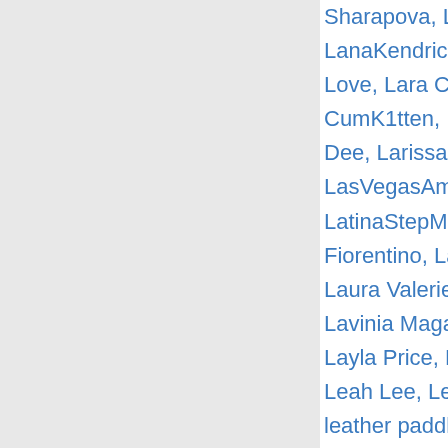Sharapova, Lana Smalls, Lana Solaire, Lana Vegas, LanaIvansOfficial, LanaKendrick, LanaRain, Lance, LaNewGirl, LANewGirl.com, Laney Grey, Lani Love, Lara CumKitten, Lara De Santis, Lara Duro, Lara Jones, Lara-CumK1tten, Lara-CumKitten, Large Boobs, large b, Larissa Castro, Larissa Dee, Larissa Gold, Larissa Leite, LaSublimeXXX, lasublimexxx.com, LasVegasAmateurs, LatexGirl, LatexPussyCats.com, Latin, Latin ass, Latin T, LatinaStepMom.com, Latine, Latte Angel, Latuna, Laug, Laura Crystal, Laura Fiorentino, Laura K. (40), Laura L., Orsolya (39), Laura Sky, Laura Titaphea, Laura Valerie, Kain, Lauren Philips, Lauren Phillips, Lauren Pixie, Lau, North, Lavinia Magalhaes, Lavish Styles, Lawyer, Layla, Layla Moore, Layla Pric, Layla Price, Layla Sin, Layna L, Hart, Lea Lexis, Leah, Leah Gotti, Leah Lee, Leah Lee, Leanna Heart, Leanna Lawson, Leanna Sweet, Leanne, Leather, leather paddle, leather paddling lingerie, leathe, Leda Bear, Leda Elizabeth, Leda Lotharia, Lee Anne, Le, Legal, Legal Asian, Legal Teen, Legal Teens, LegalPorn, Ass, Legwear, Leia (EU) (45), Leia Rae, Leidy de Leon, Leila Croft, Leila LaRocco, Leila Lewis, Leilani Gold, Le, Lena Anderson Bella Rolland, Lena Ashworth, Lena Ke, Lena Paul, Lena Reif, Lena The Plug, Lena XS, LenaLa, Lenna Ross, Lenny (32), Leno Nitro, Lenochka Cherno, Lesbea, Lesbea.com, Lesbi, Lesbian, lesbian anal, Lesb